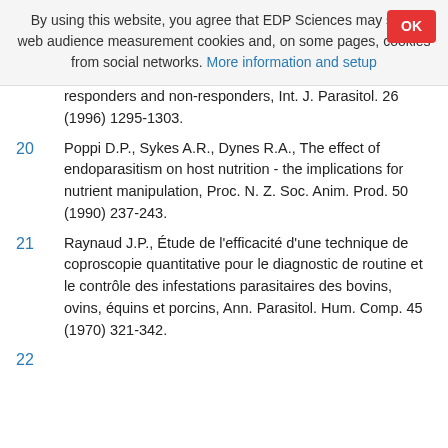By using this website, you agree that EDP Sciences may store web audience measurement cookies and, on some pages, cookies from social networks. More information and setup
responders and non-responders, Int. J. Parasitol. 26 (1996) 1295-1303.
20  Poppi D.P., Sykes A.R., Dynes R.A., The effect of endoparasitism on host nutrition - the implications for nutrient manipulation, Proc. N. Z. Soc. Anim. Prod. 50 (1990) 237-243.
21  Raynaud J.P., Étude de l'efficacité d'une technique de coproscopie quantitative pour le diagnostic de routine et le contrôle des infestations parasitaires des bovins, ovins, équins et porcins, Ann. Parasitol. Hum. Comp. 45 (1970) 321-342.
22